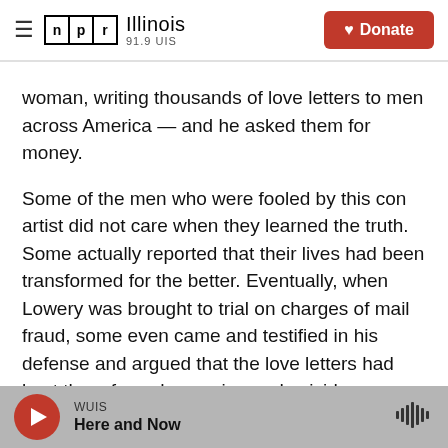NPR Illinois 91.9 UIS | Donate
woman, writing thousands of love letters to men across America — and he asked them for money.
Some of the men who were fooled by this con artist did not care when they learned the truth. Some actually reported that their lives had been transformed for the better. Eventually, when Lowery was brought to trial on charges of mail fraud, some even came and testified in his defense and argued that the love letters had kept them from depression and suicide.
Lowery's story begins a new book by Vedantam
WUIS
Here and Now